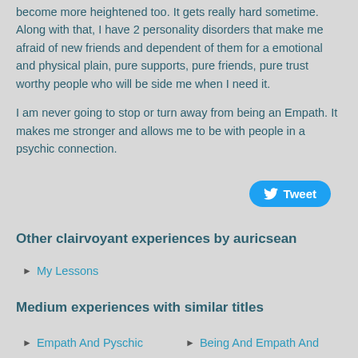become more heightened too. It gets really hard sometime. Along with that, I have 2 personality disorders that make me afraid of new friends and dependent of them for a emotional and physical plain, pure supports, pure friends, pure trust worthy people who will be side me when I need it.
I am never going to stop or turn away from being an Empath. It makes me stronger and allows me to be with people in a psychic connection.
[Figure (other): Tweet button with Twitter bird icon]
Other clairvoyant experiences by auricsean
My Lessons
Medium experiences with similar titles
Empath And Pyschic
Being And Empath And